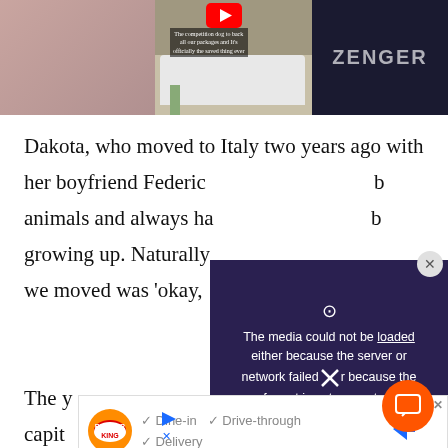[Figure (screenshot): Video thumbnail showing a car scene on left/center panels and ZENGER logo on dark right panel, with YouTube play button overlay]
Dakota, who moved to Italy two years ago with her boyfriend Federic... animals and always ha... growing up. Naturally we moved was 'okay,
[Figure (screenshot): Media error overlay popup with dark purple background reading: 'The media could not be loaded either because the server or network failed or because the format is not supported.' with close X button]
The y capit lookin
[Figure (screenshot): Burger King advertisement banner showing logo with checkmarks for Dine-in, Drive-through, and Delivery options]
over